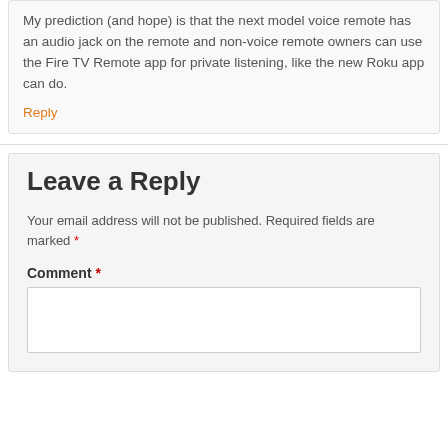My prediction (and hope) is that the next model voice remote has an audio jack on the remote and non-voice remote owners can use the Fire TV Remote app for private listening, like the new Roku app can do.
Reply
Leave a Reply
Your email address will not be published. Required fields are marked *
Comment *